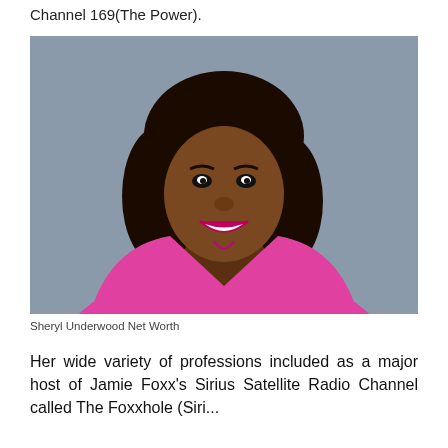Channel 169(The Power).
[Figure (photo): Professional headshot of Sheryl Underwood wearing a bright pink top, smiling, with dark wavy hair, against a gray background.]
Sheryl Underwood Net Worth
Her wide variety of professions included as a major host of Jamie Foxx's Sirius Satellite Radio Channel called The Foxxhole (Siri...